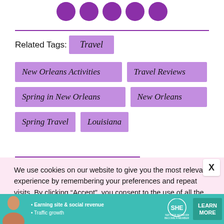[Figure (illustration): Row of five purple circular social media icon buttons at the top of the page]
Related Tags:  Travel  New Orleans Activities  Travel Reviews  Spring in New Orleans  New Orleans  Spring Travel  Louisiana
We use cookies on our website to give you the most relevant experience by remembering your preferences and repeat visits. By clicking “Accept”, you consent to the use of all the cookies.
[Figure (infographic): Bottom advertisement banner for SHE Partner Network with teal background, woman photo, bullet points about Earning site & social revenue and Traffic growth, SHE logo, and LEARN MORE button]